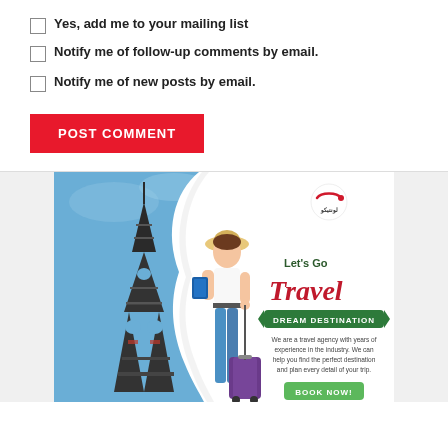Yes, add me to your mailing list
Notify me of follow-up comments by email.
Notify me of new posts by email.
POST COMMENT
[Figure (illustration): Travel agency advertisement banner featuring the Eiffel Tower on the left with a blue sky background, a woman in a hat and sunglasses carrying luggage in the center, and on the right a white background with a logo, 'Let’s Go Travel' text in dark green and red cursive, a 'DREAM DESTINATION' banner in green, descriptive text reading 'We are a travel agency with years of experience in the industry. We can help you find the perfect destination and plan every detail of your trip.', and a green 'BOOK NOW!' button.]